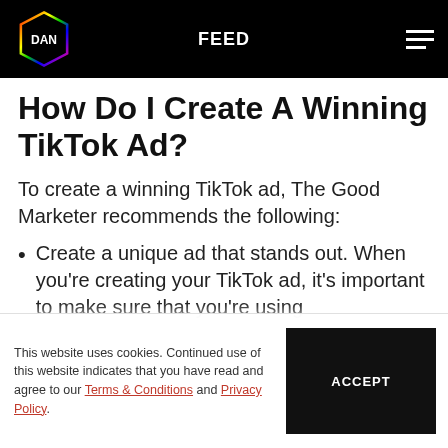FEED
How Do I Create A Winning TikTok Ad?
To create a winning TikTok ad, The Good Marketer recommends the following:
Create a unique ad that stands out. When you're creating your TikTok ad, it's important to make sure that you're using
This website uses cookies. Continued use of this website indicates that you have read and agree to our Terms & Conditions and Privacy Policy.